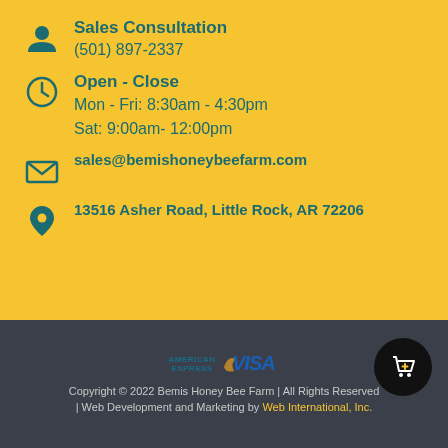Sales Consultation
(501) 897-2337
Open - Close
Mon - Fri: 8:30am - 4:30pm
Sat: 9:00am- 12:00pm
sales@bemishoneybeefarm.com
13516 Asher Road, Little Rock, AR 72206
[Figure (logo): American Express and Visa payment logos]
Copyright © 2022 Bemis Honey Bee Farm | All Rights Reserved | Web Development and Marketing by Web International, Inc.